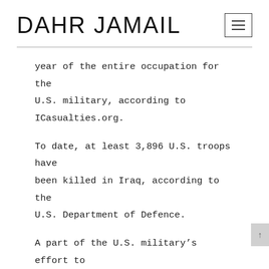DAHR JAMAIL
year of the entire occupation for the U.S. military, according to ICasualties.org.
To date, at least 3,896 U.S. troops have been killed in Iraq, according to the U.S. Department of Defence.
A part of the U.S. military’s effort to reduce violence has been to pay former resistance fighters. Late in 2007, the